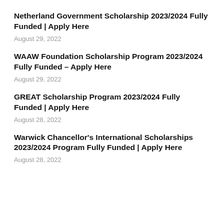Netherland Government Scholarship 2023/2024 Fully Funded | Apply Here
August 29, 2022
WAAW Foundation Scholarship Program 2023/2024 Fully Funded – Apply Here
August 29, 2022
GREAT Scholarship Program 2023/2024 Fully Funded | Apply Here
August 28, 2022
Warwick Chancellor's International Scholarships 2023/2024 Program Fully Funded | Apply Here
August 28, 2022